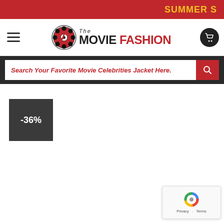SUMMER S
[Figure (logo): The Movie Fashion logo with film reel icon, hamburger menu, and shopping cart]
Search Your Favorite Movie Celebrities Jacket Here.
-36%
[Figure (other): reCAPTCHA widget with Privacy and Terms links]